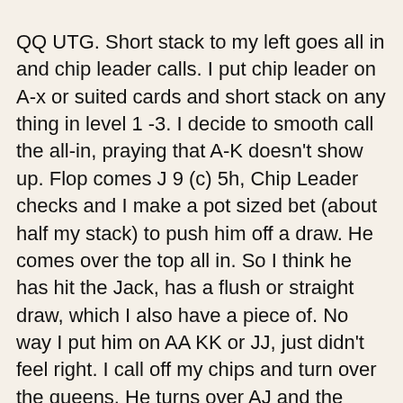QQ UTG. Short stack to my left goes all in and chip leader calls. I put chip leader on A-x or suited cards and short stack on any thing in level 1 -3. I decide to smooth call the all-in, praying that A-K doesn't show up. Flop comes J 9 (c) 5h, Chip Leader checks and I make a pot sized bet (about half my stack) to push him off a draw. He comes over the top all in. So I think he has hit the Jack, has a flush or straight draw, which I also have a piece of. No way I put him on AA KK or JJ, just didn't feel right. I call off my chips and turn over the queens. He turns over AJ and the peanut gallery goes nuts. The turn and river comes up blanks. What a feeling. 2 hands later I get AA and have two all in callers. Down to 3 players and Previous chip leader had taken a big